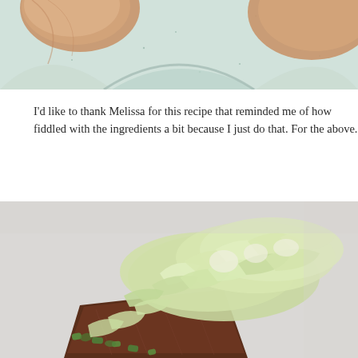[Figure (photo): Close-up photo of wooden spoons or kitchen utensils over a speckled light blue/white ceramic bowl or surface, cropped at the top.]
I'd like to thank Melissa for this recipe that reminded me of how fiddled with the ingredients a bit because I just do that.  For the above.
[Figure (photo): Photo of chopped green cabbage and green onions piled on a small wooden cutting board on a light gray surface, with green onion pieces in the foreground.]